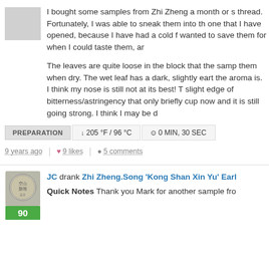[Figure (photo): Small gray avatar/profile image placeholder]
I bought some samples from Zhi Zheng a month or s thread. Fortunately, I was able to sneak them into th one that I have opened, because I have had a cold f wanted to save them for when I could taste them, ar
The leaves are quite loose in the block that the samp them when dry. The wet leaf has a dark, slightly eart the aroma is. I think my nose is still not at its best! T slight edge of bitterness/astringency that only briefly cup now and it is still going strong. I think I may be d
PREPARATION  ↓ 205 °F / 96 °C   ⊙ 0 MIN, 30 SEC
9 years ago  |  ♥ 9 likes  |  ● 5 comments
[Figure (photo): Tea product circular logo/label with Chinese characters, green score badge showing 90]
JC drank Zhi Zheng.Song 'Kong Shan Xin Yu' Earl
Quick Notes Thank you Mark for another sample fro